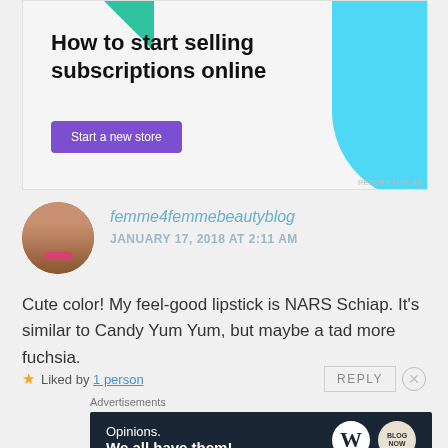[Figure (other): Advertisement banner: 'How to start selling subscriptions online' with a purple 'Start a new store' button, green triangle shape top-left, blue curved shape right]
femme4femmebeautyblog
JANUARY 17, 2018 AT 2:11 AM
Cute color! My feel-good lipstick is NARS Schiap. It's similar to Candy Yum Yum, but maybe a tad more fuchsia.
★ Liked by 1 person
REPLY
Advertisements
[Figure (other): Advertisement banner: 'Opinions. We all have them!' on dark navy background with WordPress logo and blog logo]